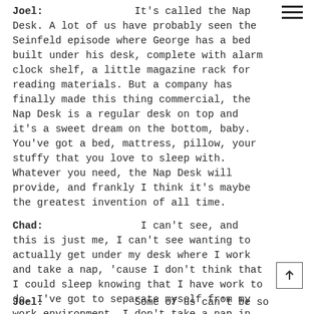Joel: It's called the Nap Desk. A lot of us have probably seen the Seinfeld episode where George has a bed built under his desk, complete with alarm clock shelf, a little magazine rack for reading materials. But a company has finally made this thing commercial, the Nap Desk is a regular desk on top and it's a sweet dream on the bottom, baby. You've got a bed, mattress, pillow, your stuffy that you love to sleep with. Whatever you need, the Nap Desk will provide, and frankly I think it's maybe the greatest invention of all time.
Chad: I can't see, and this is just me, I can't see wanting to actually get under my desk where I work and take a nap, 'cause I don't think that I could sleep knowing that I have work to do. I've got to separate myself from my work environment. I don't take a nap in my office. I have a couch in my office. I have a TV in my office. But I don't take a nap in my office. I would need to get the fuck out.
Joel: Some of us can't be so...